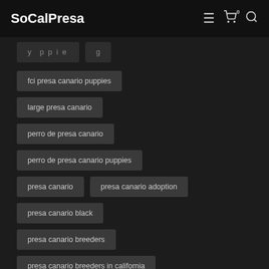SoCalPresa
fci presa canario puppies
large presa canario
perro de presa canario
perro de presa canario puppies
presa canario
presa canario adoption
presa canario black
presa canario breeders
presa canario breeders in california
presa canario california